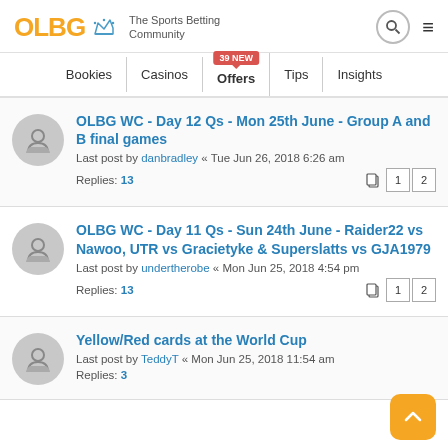OLBG The Sports Betting Community
Bookies | Casinos | Offers 39 NEW | Tips | Insights
OLBG WC - Day 12 Qs - Mon 25th June - Group A and B final games
Last post by danbradley « Tue Jun 26, 2018 6:26 am
Replies: 13
OLBG WC - Day 11 Qs - Sun 24th June - Raider22 vs Nawoo, UTR vs Gracietyke & Superslatts vs GJA1979
Last post by undertherobe « Mon Jun 25, 2018 4:54 pm
Replies: 13
Yellow/Red cards at the World Cup
Last post by TeddyT « Mon Jun 25, 2018 11:54 am
Replies: 3